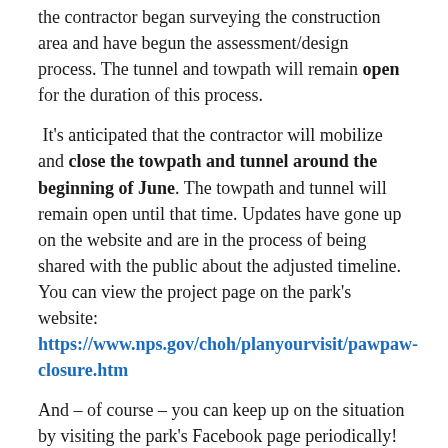the contractor began surveying the construction area and have begun the assessment/design process. The tunnel and towpath will remain open for the duration of this process.
It's anticipated that the contractor will mobilize and close the towpath and tunnel around the beginning of June. The towpath and tunnel will remain open until that time. Updates have gone up on the website and are in the process of being shared with the public about the adjusted timeline. You can view the project page on the park's website: https://www.nps.gov/choh/planyourvisit/pawpaw-closure.htm
And – of course – you can keep up on the situation by visiting the park's Facebook page periodically! An update and some excellent photos were posted today.